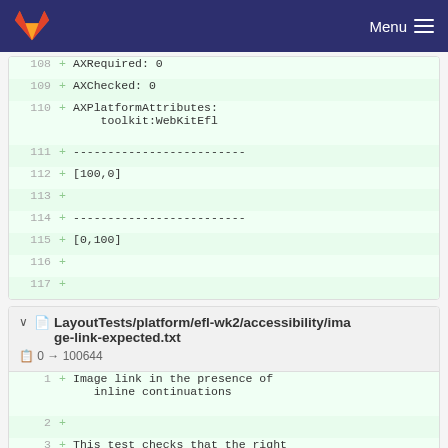GitLab Menu
108 + AXRequired: 0
109 + AXChecked: 0
110 + AXPlatformAttributes: toolkit:WebKitEfl
111 + -------------------------
112 + [100,0]
113 +
114 + -------------------------
115 + [0,100]
116 +
117 +
LayoutTests/platform/efl-wk2/accessibility/image-link-expected.txt  0 → 100644
1 + Image link in the presence of inline continuations
2 +
3 + This test checks that the right accessibility tree is generated for a link inside an image